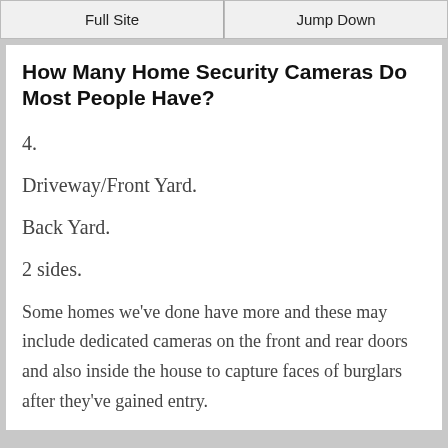Full Site | Jump Down
How Many Home Security Cameras Do Most People Have?
4.
Driveway/Front Yard.
Back Yard.
2 sides.
Some homes we've done have more and these may include dedicated cameras on the front and rear doors and also inside the house to capture faces of burglars after they've gained entry.